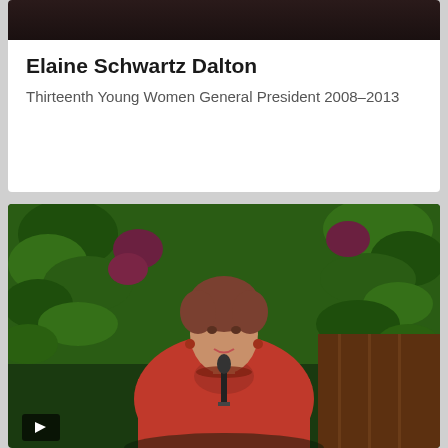[Figure (photo): Partial photo of a person at the top of a white card, cropped to show only the top portion]
Elaine Schwartz Dalton
Thirteenth Young Women General President 2008–2013
[Figure (photo): Video thumbnail showing a woman in a red jacket speaking at a podium with green foliage in the background. A video play button is visible in the lower left corner.]